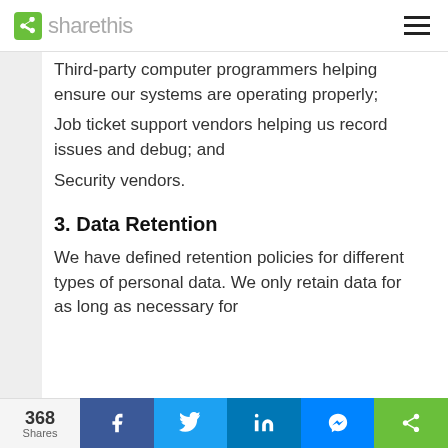sharethis
Third-party computer programmers helping ensure our systems are operating properly;
Job ticket support vendors helping us record issues and debug; and
Security vendors.
3. Data Retention
We have defined retention policies for different types of personal data. We only retain data for as long as necessary for
368 Shares